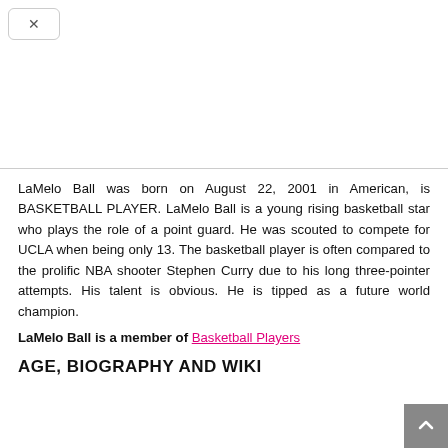LaMelo Ball was born on August 22, 2001 in American, is BASKETBALL PLAYER. LaMelo Ball is a young rising basketball star who plays the role of a point guard. He was scouted to compete for UCLA when being only 13. The basketball player is often compared to the prolific NBA shooter Stephen Curry due to his long three-pointer attempts. His talent is obvious. He is tipped as a future world champion.
LaMelo Ball is a member of Basketball Players
AGE, BIOGRAPHY AND WIKI